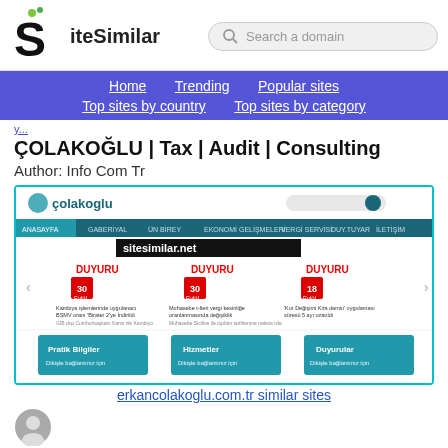[Figure (logo): SiteSimilar logo with S letter and dots]
Search a domain
Home  Trending  Popular sites  Top sites by country  Top sites by category
ÇOLAKOĞLU | Tax | Audit | Consulting
Author: Info Com Tr
[Figure (screenshot): Screenshot of erkancolakoglu.com.tr website showing colakoglu header, navigation bar, sitesimilar.net watermark, DUYURU sections with dates 30, 30, 18 Eylül, and bottom image banners]
erkancolakoglu.com.tr similar sites